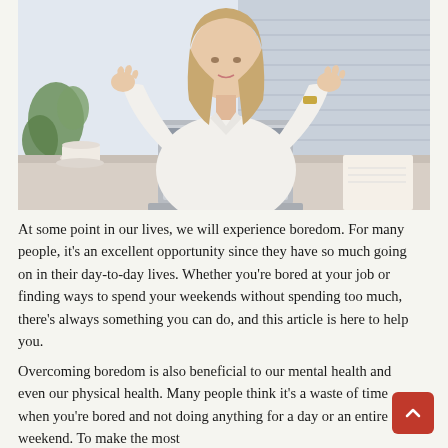[Figure (photo): A woman in a white shirt sitting at a desk with a laptop in front of her, meditating with hands raised in a yoga pose. A coffee cup, glasses, and notepad are on the desk. Office background with windows and plants.]
At some point in our lives, we will experience boredom. For many people, it's an excellent opportunity since they have so much going on in their day-to-day lives. Whether you're bored at your job or finding ways to spend your weekends without spending too much, there's always something you can do, and this article is here to help you.
Overcoming boredom is also beneficial to our mental health and even our physical health. Many people think it's a waste of time when you're bored and not doing anything for a day or an entire weekend. To make the most